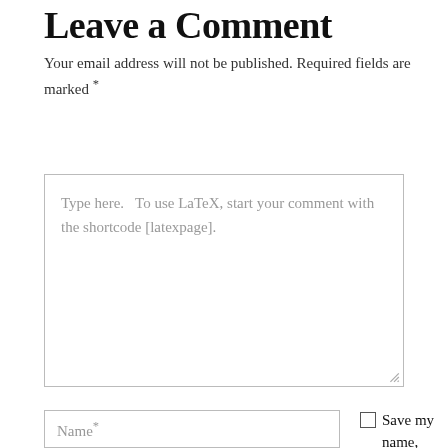Leave a Comment
Your email address will not be published. Required fields are marked *
[Figure (other): Comment text area with placeholder text: Type here. To use LaTeX, start your comment with the shortcode [latexpage].]
[Figure (other): Name input field with placeholder 'Name*']
Save my name, email, and website in this browser for the next time